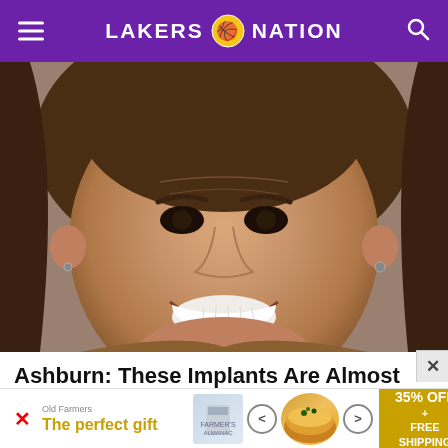LAKERS NATION
[Figure (photo): Close-up photo of a middle-aged man with long brown hair, ear piercings, tanned and wrinkled skin, smiling broadly showing white teeth.]
Ashburn: These Implants Are Almost Being Given Away (See Prices)
Dental Implants | Search Ads | Sponsored
[Figure (infographic): Bottom advertisement banner showing 'The perfect gift' with food image and '35% OFF + FREE SHIPPING' offer in gold/yellow.]